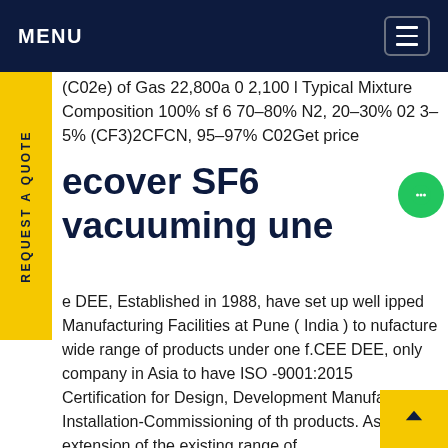MENU
(C02e) of Gas 22,800a 0 2,100 l Typical Mixture Composition 100% sf 6 70-80% N2, 20-30% 02 3-5% (CF3)2CFCN, 95-97% C02Get price
recover SF6 vacuuming une
e DEE, Established in 1988, have set up well ipped Manufacturing Facilities at Pune ( India ) to nufacture wide range of products under one f.CEE DEE, only company in Asia to have ISO -9001:2015 Certification for Design, Development Manufacturing Installation-Commissioning of th products. As an extension of the existing range of